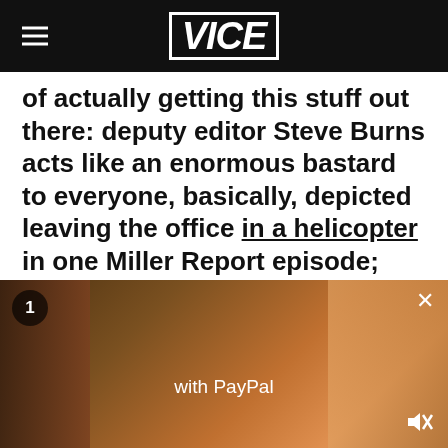VICE
of actually getting this stuff out there: deputy editor Steve Burns acts like an enormous bastard to everyone, basically, depicted leaving the office in a helicopter in one Miller Report episode; and video producer Jamie Trinca has been known to show up as either dressing-gown-clad and wrestling-ready cop Tam McGleish or grubby-vested, short-tempered father figure Yir Auld Da. There's slapstick stuff,
[Figure (screenshot): Video overlay showing a blurred scene with a person, badge showing number 1, close button (X), text 'with PayPal', and a mute/unmute icon in the bottom right corner.]